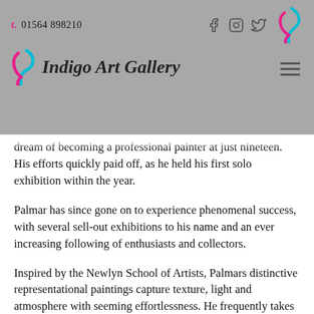t. 01564 898210 — Indigo Art Gallery
dream of becoming a professional painter at just nineteen. His efforts quickly paid off, as he held his first solo exhibition within the year.
Palmar has since gone on to experience phenomenal success, with several sell-out exhibitions to his name and an ever increasing following of enthusiasts and collectors.
Inspired by the Newlyn School of Artists, Palmars distinctive representational paintings capture texture, light and atmosphere with seeming effortlessness. He frequently takes English landscapes and coasts as his subjects, and is particularly inspired by the sea with its diverse movements, rhythms and space.
Working today from his home in Surrey, Palmar says I feel very privileged to paint every day, and am